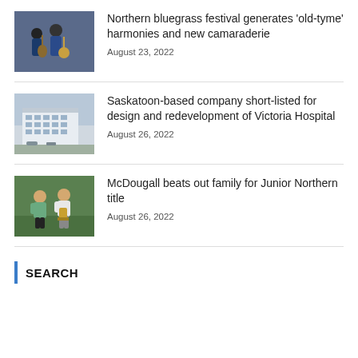[Figure (photo): Musicians playing bluegrass instruments on stage]
Northern bluegrass festival generates ‘old-tyme’ harmonies and new camaraderie
August 23, 2022
[Figure (photo): Modern hospital building exterior]
Saskatoon-based company short-listed for design and redevelopment of Victoria Hospital
August 26, 2022
[Figure (photo): Two men standing on grass, one holding a trophy]
McDougall beats out family for Junior Northern title
August 26, 2022
SEARCH